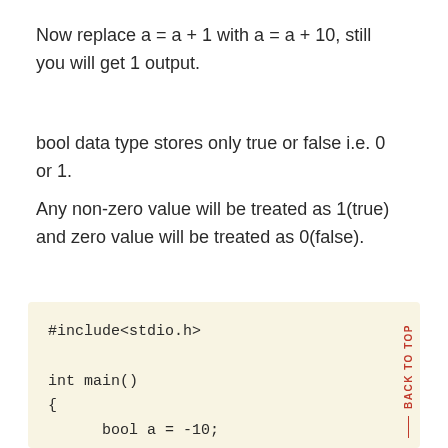Now replace a = a + 1 with a = a + 10, still you will get 1 output.
bool data type stores only true or false i.e. 0 or 1.
Any non-zero value will be treated as 1(true) and zero value will be treated as 0(false).
[Figure (screenshot): Code box with light yellow background showing C code: #include<stdio.h>, int main(), {, bool a = -10;, printf("%d", a);, return 0;]